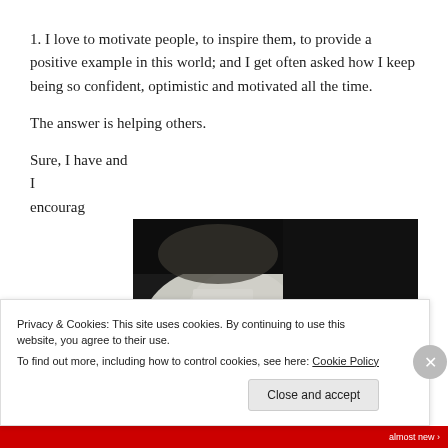1. I love to motivate people, to inspire them, to provide a positive example in this world; and I get often asked how I keep being so confident, optimistic and motivated all the time.
The answer is helping others.
Sure, I have and I encourag
[Figure (photo): A close-up photo of a person's face resting, appearing to wear white clothing or sheets, dark background.]
Privacy & Cookies: This site uses cookies. By continuing to use this website, you agree to their use.
To find out more, including how to control cookies, see here: Cookie Policy
Close and accept